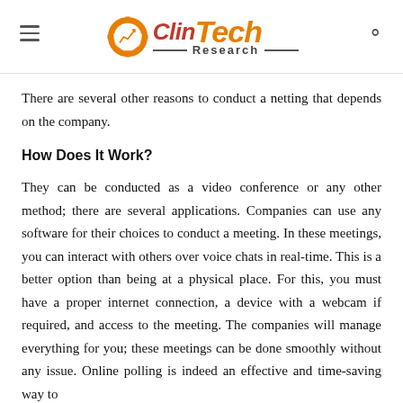ClinTech Research
There are several other reasons to conduct a netting that depends on the company.
How Does It Work?
They can be conducted as a video conference or any other method; there are several applications. Companies can use any software for their choices to conduct a meeting. In these meetings, you can interact with others over voice chats in real-time. This is a better option than being at a physical place. For this, you must have a proper internet connection, a device with a webcam if required, and access to the meeting. The companies will manage everything for you; these meetings can be done smoothly without any issue. Online polling is indeed an effective and time-saving way to